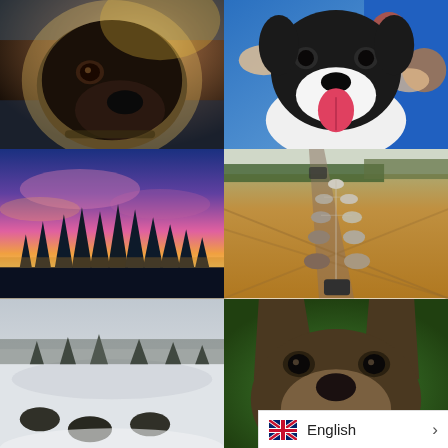[Figure (photo): Close-up of a dark/black dog face with warm backlight, wearing a collar, looking directly at camera]
[Figure (photo): Black and white dog with tongue out being held by a child's hands, colorful blue patterned jacket visible in background]
[Figure (photo): Sunset or sunrise sky with vivid pink and purple clouds over silhouetted conifer trees in a winter landscape]
[Figure (photo): Aerial/POV view of a dog sled team running along a muddy track through a field, trees and road in background]
[Figure (photo): Snowy landscape with trees and sled dogs in winter conditions]
[Figure (photo): Close-up of a German Shepherd or husky type dog face looking up, with grass background]
English >